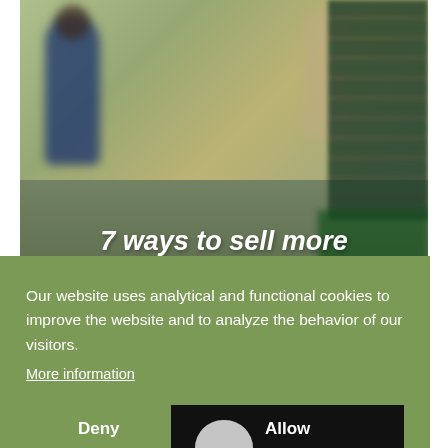[Figure (photo): Blurred background photo of a food processing facility with workers in blue uniforms and green shelving/crates, overlaid with a bold white italic heading]
7 ways to sell more mushrooms all year round!
Our website uses analytical and functional cookies to improve the website and to analyze the behavior of our visitors.
More information
Deny
Allow